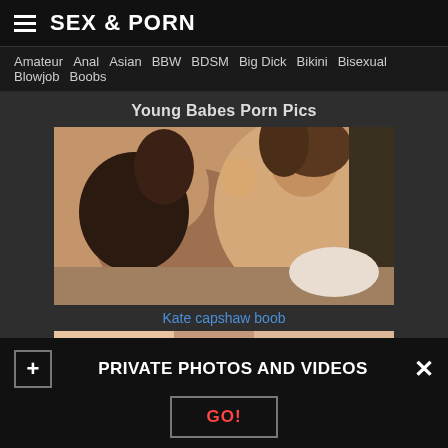SEX & PORN
Amateur  Anal  Asian  BBW  BDSM  Big Dick  Bikini  Bisexual  Blowjob  Boobs
Young Babes Porn Pics
[Figure (photo): Two women in an intimate pose on a bed]
Kate capshaw boob
[Figure (photo): Partial view of a second image, pink/skin tones]
PRIVATE PHOTOS AND VIDEOS
GO!